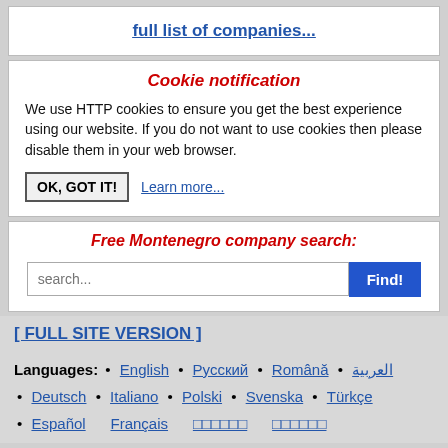full list of companies...
Cookie notification
We use HTTP cookies to ensure you get the best experience using our website. If you do not want to use cookies then please disable them in your web browser.
OK, GOT IT!   Learn more...
Free Montenegro company search:
search...  Find!
[ FULL SITE VERSION ]
Languages: • English • Русский • Română • العربية • Deutsch • Italiano • Polski • Svenska • Türkçe • Español • Français • ...